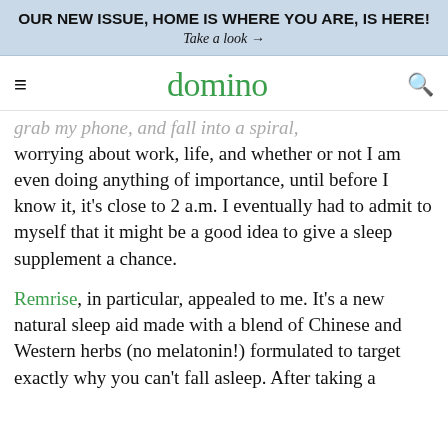OUR NEW ISSUE, HOME IS WHERE YOU ARE, IS HERE!
Take a look →
domino
grab my phone, and fall into a spiral, worrying about work, life, and whether or not I am even doing anything of importance, until before I know it, it's close to 2 a.m. I eventually had to admit to myself that it might be a good idea to give a sleep supplement a chance.
Remrise, in particular, appealed to me. It's a new natural sleep aid made with a blend of Chinese and Western herbs (no melatonin!) formulated to target exactly why you can't fall asleep. After taking a